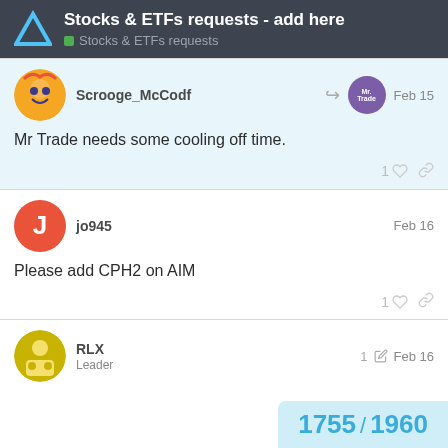Stocks & ETFs requests - add here | Stocks & ETFs requests
Scrooge_McCodf — Feb 15
Mr Trade needs some cooling off time.
jo945 — Feb 16
Please add CPH2 on AIM
RLX — Leader — Feb 16
1755 / 1960